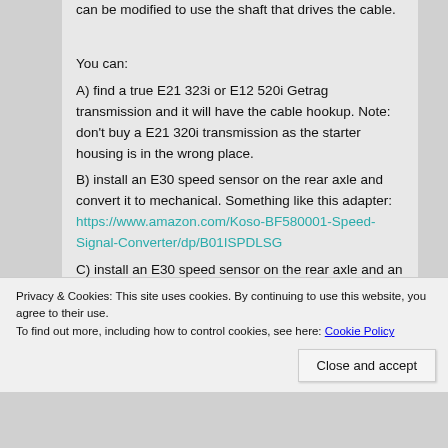can be modified to use the shaft that drives the cable.
You can:
A) find a true E21 323i or E12 520i Getrag transmission and it will have the cable hookup. Note: don't buy a E21 320i transmission as the starter housing is in the wrong place.
B) install an E30 speed sensor on the rear axle and convert it to mechanical. Something like this adapter: https://www.amazon.com/Koso-BF580001-Speed-Signal-Converter/dp/B01ISPDLSG
C) install an E30 speed sensor on the rear axle and an E30 cluster in the dash
Hope the engine conversion is running well
Privacy & Cookies: This site uses cookies. By continuing to use this website, you agree to their use.
To find out more, including how to control cookies, see here: Cookie Policy
Close and accept